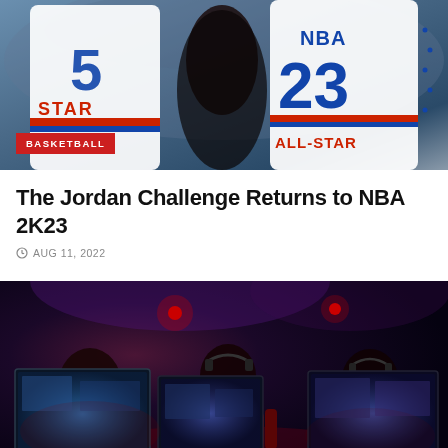[Figure (photo): NBA All-Star basketball jerseys - left jersey shows number 5 and STAR text, right jersey shows NBA number 23 ALL-STAR logo, dark background with crowd]
BASKETBALL
The Jordan Challenge Returns to NBA 2K23
AUG 11, 2022
[Figure (photo): Esports gaming scene with players seated at red gaming chairs in front of monitors displaying games, dark arena with red accent lighting]